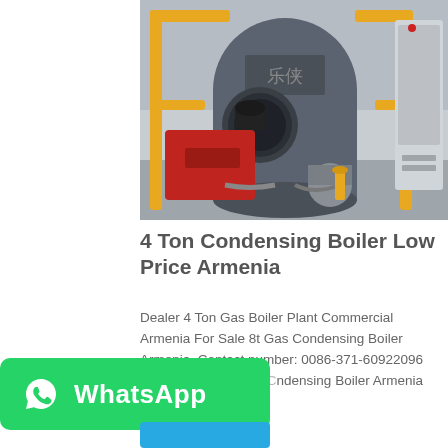[Figure (photo): Industrial condensing boiler unit with red burner, grey cylindrical tank, yellow pipe frame, and control cabinet in a factory setting]
4 Ton Condensing Boiler Low Price Armenia
Dealer 4 Ton Gas Boiler Plant Commercial Armenia For Sale 8t Gas Condensing Boiler Armenia. Contact number: 0086-371-60922096 Clean boiler supplier Condensing Boiler Armenia Energy...
[Figure (logo): WhatsApp green badge with phone icon and WhatsApp text in white on green background]